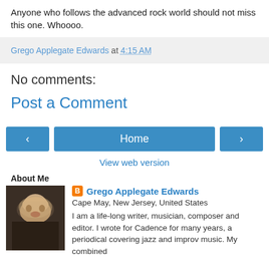Anyone who follows the advanced rock world should not miss this one. Whoooo.
Grego Applegate Edwards at 4:15 AM
No comments:
Post a Comment
[Figure (other): Navigation buttons: back arrow, Home, forward arrow]
View web version
About Me
[Figure (photo): Profile photo of Grego Applegate Edwards]
Grego Applegate Edwards
Cape May, New Jersey, United States
I am a life-long writer, musician, composer and editor. I wrote for Cadence for many years, a periodical covering jazz and improv music. My combined